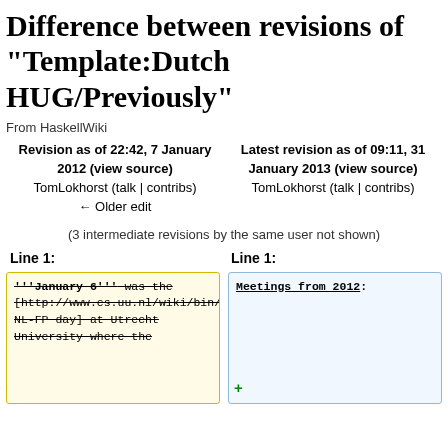Difference between revisions of "Template:Dutch HUG/Previously"
From HaskellWiki
Revision as of 22:42, 7 January 2012 (view source)
TomLokhorst (talk | contribs)
← Older edit

Latest revision as of 09:11, 31 January 2013 (view source)
TomLokhorst (talk | contribs)
(3 intermediate revisions by the same user not shown)
Line 1:
Line 1:
'''January 6''' was the [http://www.cs.uu.nl/wiki/bin/view/FPDag2012/WebHome NL-FP day] at Utrecht University where the

Meetings from 2012: